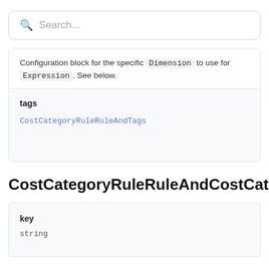Search...
Configuration block for the specific Dimension to use for Expression. See below.
tags
CostCategoryRuleRuleAndTags
CostCategoryRuleRuleAndCostCategory
key
string